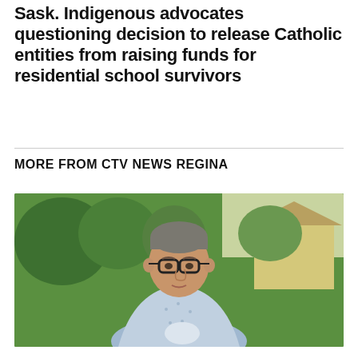Sask. Indigenous advocates questioning decision to release Catholic entities from raising funds for residential school survivors
MORE FROM CTV NEWS REGINA
[Figure (photo): A middle-aged man with glasses and short grey hair wearing a light blue patterned button-up shirt, standing outdoors with green trees and a house visible in the background.]
Sask. advocates questioning decision to release Catholic entities from raising funds for residential school survivors